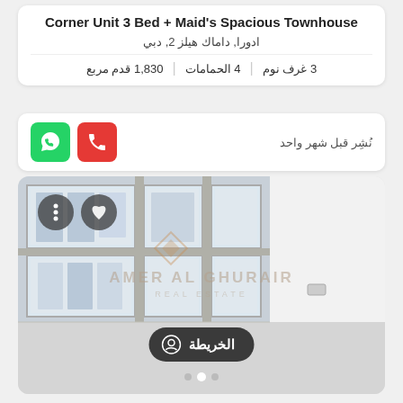Corner Unit 3 Bed + Maid's Spacious Townhouse
ادورا, داماك هيلز 2, دبي
3 غرف نوم  |  4 الحمامات  |  1,830 قدم مربع
نُشِر قبل شهر واحد
[Figure (photo): Interior photo of a spacious empty room with large windows overlooking exterior buildings, white walls, light grey floor tiles, with AMER AL GHURAIR REAL ESTATE watermark in center]